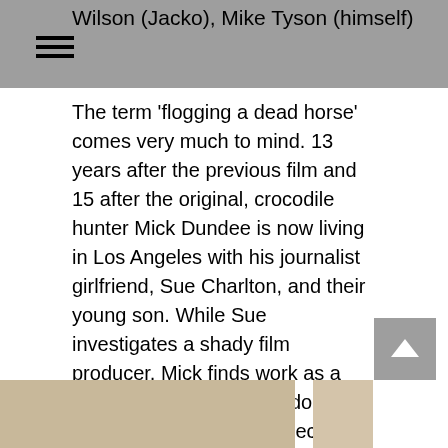Wilson (Jacko), Mike Tyson (himself)
The term 'flogging a dead horse' comes very much to mind. 13 years after the previous film and 15 after the original, crocodile hunter Mick Dundee is now living in Los Angeles with his journalist girlfriend, Sue Charlton, and their young son. While Sue investigates a shady film producer, Mick finds work as a film extra, but when that doesn't work out as planned he becomes an animal trainer.
The character made famous in the 1980's is reduced to a cross between Doctor Dolittle and Tarzan. There's very little entertainment and even less humour for even the most ardent or nostalgic of fans.
4/10
[Figure (photo): Partial view of a photograph at the bottom of the page, showing what appears to be a close-up of a person or animal outdoors.]